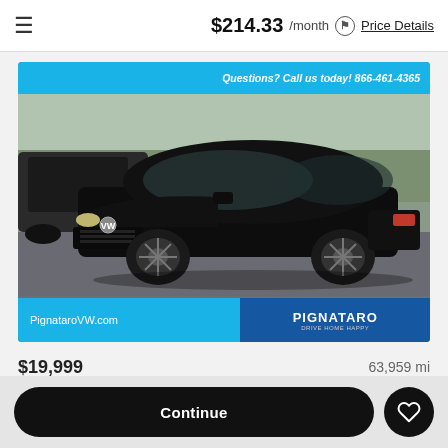≡   $214.33 /month ⓘ Price Details
[Figure (photo): Black Volkswagen Jetta sedan in a dealership parking lot, photographed at a three-quarter front angle. The top banner reads: Questions? Call us today! 866-461-4365. The bottom banner shows PignataroVW.com and the PIGNATARO DRIVE HOME HAPPY logo.]
$19,999   63,959 mi
Continue